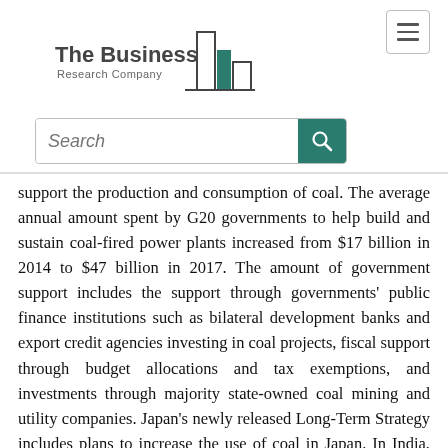[Figure (logo): The Business Research Company logo with building/bar chart icon in teal]
support the production and consumption of coal. The average annual amount spent by G20 governments to help build and sustain coal-fired power plants increased from $17 billion in 2014 to $47 billion in 2017. The amount of government support includes the support through governments' public finance institutions such as bilateral development banks and export credit agencies investing in coal projects, fiscal support through budget allocations and tax exemptions, and investments through majority state-owned coal mining and utility companies. Japan's newly released Long-Term Strategy includes plans to increase the use of coal in Japan. In India, the government has